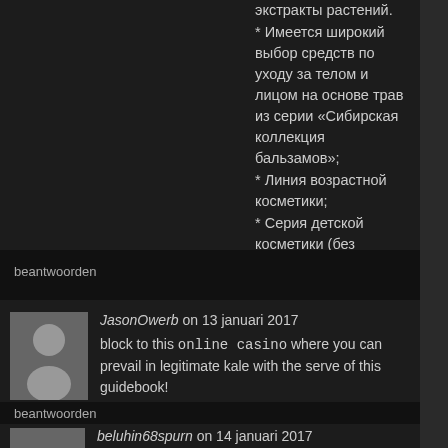экстракты растений.
* Имеется широкий выбор средств по уходу за телом и лицом на основе трав из серии «Сибирская коллекция бальзамов»;
* Линия возрастной косметики;
* Серия детской косметики (без консервантов);
* Продукты для укрепления и оздоровления всего организма.
https://vk.com/sibir_zdorove
beantwoorden
JasonOwerb on 13 januari 2017
block to this online casino where you can prevail in legitimate kale with the serve of this guidebook!
beantwoorden
beluhin68spurn on 14 januari 2017